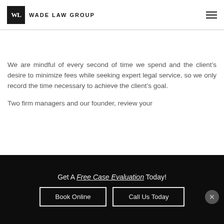WADE LAW GROUP
We are mindful of every second of time we spend and the client's desire to minimize fees while seeking expert legal service, so we only record the time necessary to achieve the client's goal.
Two firm managers and our founder, review your
Get A Free Case Evaluation Today!
Book Online
Call Us Today